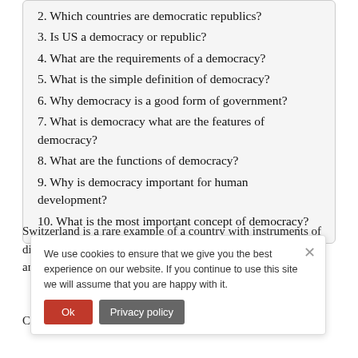2. Which countries are democratic republics?
3. Is US a democracy or republic?
4. What are the requirements of a democracy?
5. What is the simple definition of democracy?
6. Why democracy is a good form of government?
7. What is democracy what are the features of democracy?
8. What are the functions of democracy?
9. Why is democracy important for human development?
10. What is the most important concept of democracy?
Switzerland is a rare example of a country with instruments of direct democracy (at the levels of the municipalities, cantons, and federal state).
Citizens have more power than in a representative democracy.
We use cookies to ensure that we give you the best experience on our website. If you continue to use this site we will assume that you are happy with it.